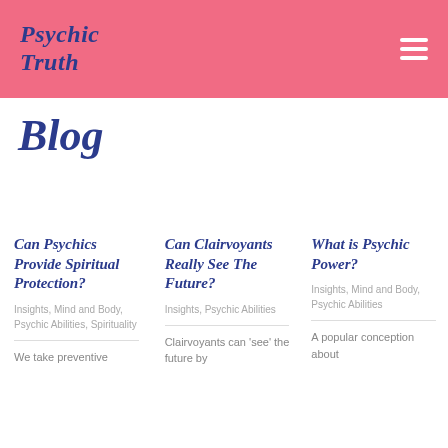Psychic Truth
Blog
Can Psychics Provide Spiritual Protection?
Insights, Mind and Body, Psychic Abilities, Spirituality
We take preventive
Can Clairvoyants Really See The Future?
Insights, Psychic Abilities
Clairvoyants can 'see' the future by
What is Psychic Power?
Insights, Mind and Body, Psychic Abilities
A popular conception about